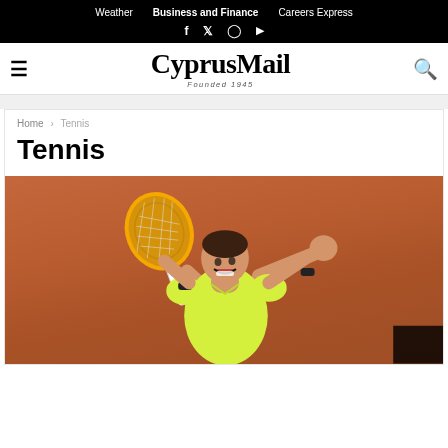Weather  Business and Finance  Careers Express
CyprusMail — Founded 1945
Home > Tennis
Tennis
[Figure (photo): Tennis player celebrating on clay court, raising both arms with racket in right hand, wearing yellow-green shirt and black wristbands]